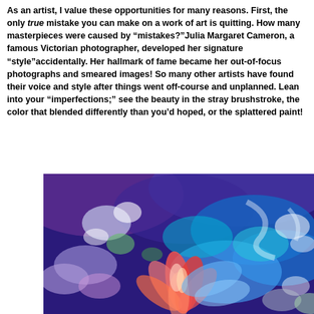As an artist, I value these opportunities for many reasons. First, the only true mistake you can make on a work of art is quitting. How many masterpieces were caused by "mistakes?" Julia Margaret Cameron, a famous Victorian photographer, developed her signature "style" accidentally. Her hallmark of fame became her out-of-focus photographs and smeared images! So many other artists have found their voice and style after things went off-course and unplanned. Lean into your "imperfections;" see the beauty in the stray brushstroke, the color that blended differently than you'd hoped, or the splattered paint!
[Figure (illustration): Abstract colorful painting with vibrant blues, purples, and a coral/red flower-like form in the center, with expressive brushstrokes]